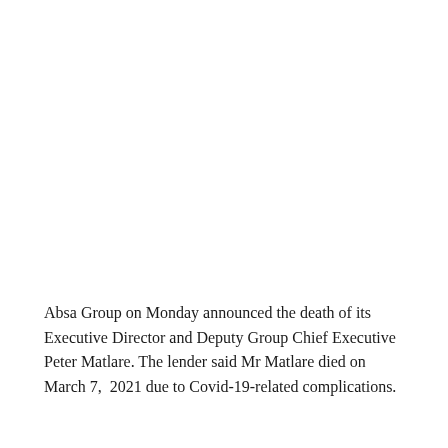Absa Group on Monday announced the death of its Executive Director and Deputy Group Chief Executive Peter Matlare. The lender said Mr Matlare died on March 7,  2021 due to Covid-19-related complications.